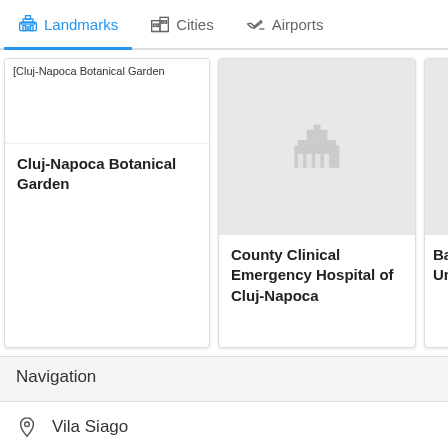Landmarks | Cities | Airports
[Figure (screenshot): Card showing broken image for Cluj-Napoca Botanical Garden with title text]
Cluj-Napoca Botanical Garden
[Figure (screenshot): Card with gray placeholder image showing a landmarks/museum icon, with title County Clinical Emergency Hospital of Cluj-Napoca]
County Clinical Emergency Hospital of Cluj-Napoca
[Figure (screenshot): Partially visible card showing gray image placeholder, title Babes-B... Univers...]
Babes-B... Univers...
Navigation
Vila Siago